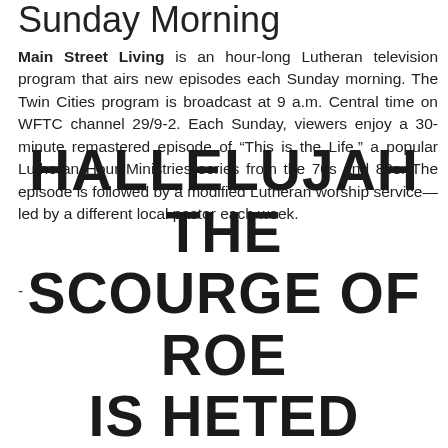Sunday Morning
Main Street Living is an hour-long Lutheran television program that airs new episodes each Sunday morning. The Twin Cities program is broadcast at 9 a.m. Central time on WFTC channel 29/9-2. Each Sunday, viewers enjoy a 30-minute remastered episode of “This is the Life,” a popular Lutheran Hour Ministries series from the 70s and 80s. The episode is followed by a modified Lutheran worship service—led by a different local pastor each week.
-
HALLELUJAH THE SCOURGE OF ROE IS HETED